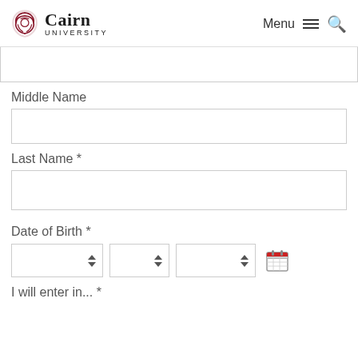Cairn University — Menu (hamburger) and search icons
Middle Name
Last Name *
Date of Birth *
I will enter in... *